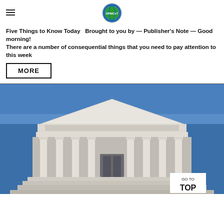DPMCast logo header with hamburger menu
Five Things to Know Today  Brought to you by — Publisher's Note — Good morning! There are a number of consequential things that you need to pay attention to this week
MORE
[Figure (photo): Photograph of the United States Supreme Court building facade, showing the classical Greek-style pediment with sculpted figures, ornate frieze, and Corinthian columns against a blue sky. A 'GO TO TOP' button overlay appears in the bottom right corner.]